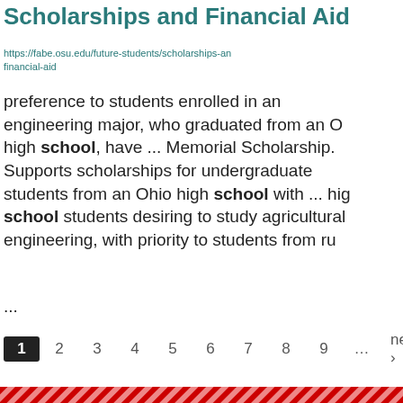Scholarships and Financial Aid
https://fabe.osu.edu/future-students/scholarships-and-financial-aid
preference to students enrolled in an engineering major, who graduated from an O high school, have ... Memorial Scholarship. Supports scholarships for undergraduate students from an Ohio high school with ... high school students desiring to study agricultural engineering, with priority to students from ru ...
1 2 3 4 5 6 7 8 9 … next › la